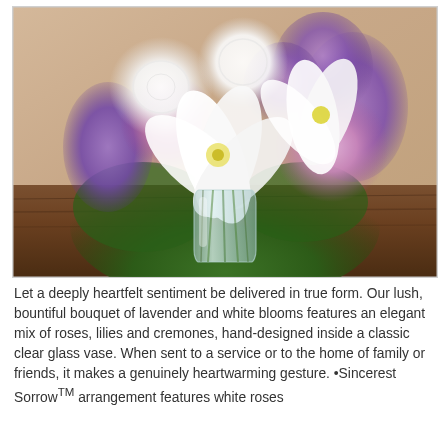[Figure (photo): A lush floral arrangement in a clear glass vase featuring white lilies, white roses, pink/lavender chrysanthemums, purple statice and green foliage, placed on a dark wooden table against a warm beige/tan background.]
Let a deeply heartfelt sentiment be delivered in true form. Our lush, bountiful bouquet of lavender and white blooms features an elegant mix of roses, lilies and cremones, hand-designed inside a classic clear glass vase. When sent to a service or to the home of family or friends, it makes a genuinely heartwarming gesture. •Sincerest Sorrow™ arrangement features white roses